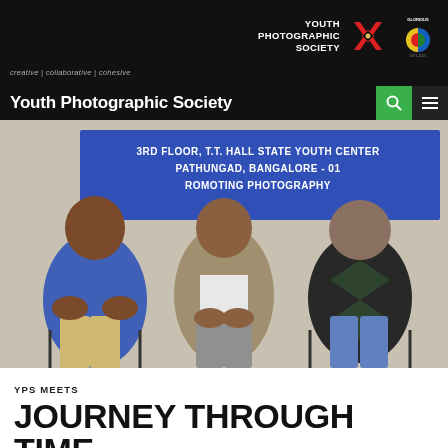Youth Photographic Society | creative | collaborative | cohesive
[Figure (photo): Three men seated on chairs in front of a blue banner reading '3RD FLOOR, T.T. HALL STATE YOUTH CENTER, PATHUNGA RD, BANGALORE - 01, ROMOTING PHOTOGRAPHY'. The man on the left wears a blue shirt, the man in the center wears a tan vest over a white shirt, and the man on the right wears a dark argyle sweater.]
YPS MEETS
JOURNEY THROUGH TIME